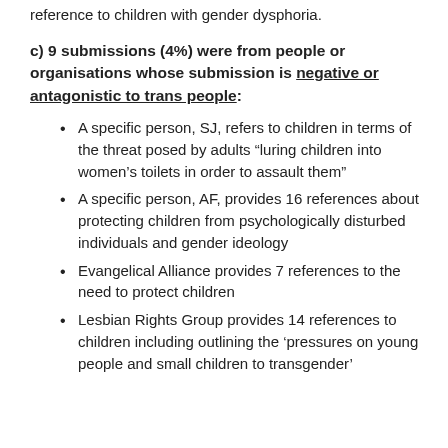reference to children with gender dysphoria.
c) 9 submissions (4%) were from people or organisations whose submission is negative or antagonistic to trans people:
A specific person, SJ, refers to children in terms of the threat posed by adults “luring children into women’s toilets in order to assault them”
A specific person, AF, provides 16 references about protecting children from psychologically disturbed individuals and gender ideology
Evangelical Alliance provides 7 references to the need to protect children
Lesbian Rights Group provides 14 references to children including outlining the ‘pressures on young people and small children to transgender’